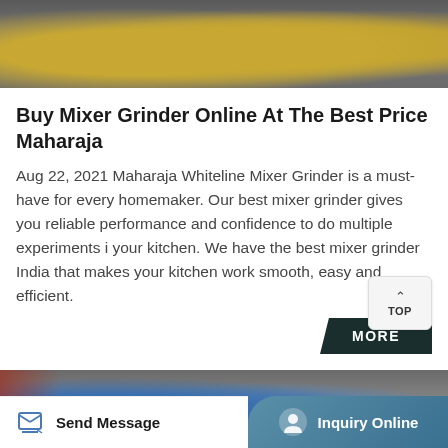[Figure (photo): Top portion of image showing yellow mixer grinder units against a dark background]
Buy Mixer Grinder Online At The Best Price Maharaja
Aug 22, 2021 Maharaja Whiteline Mixer Grinder is a must-have for every homemaker. Our best mixer grinder gives you reliable performance and confidence to do multiple experiments in your kitchen. We have the best mixer grinder in India that makes your kitchen work smooth, easy and efficient.
[Figure (photo): Bottom partial image showing industrial or kitchen equipment with blue and red elements]
Send Message   Inquiry Online